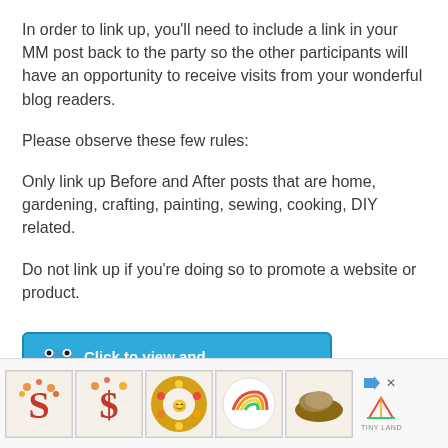In order to link up, you'll need to include a link in your MM post back to the party so the other participants will have an opportunity to receive visits from your wonderful blog readers.
Please observe these few rules:
Only link up Before and After posts that are home, gardening, crafting, painting, sewing, cooking, DIY related.
Do not link up if you're doing so to promote a website or product.
[Figure (illustration): Blue button with cartoon frog icon and text 'Click to view and add your links!']
[Figure (screenshot): Advertisement bar at bottom with thumbnail images of crafts (letter S, letter 3, wreath, rainbow, shoe) and Tiny Land logo]